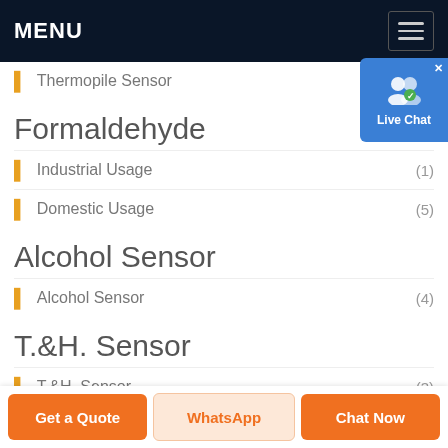MENU
Thermopile Sensor
Formaldehyde
Industrial Usage (1)
Domestic Usage (5)
Alcohol Sensor
Alcohol Sensor (4)
T.&H. Sensor
T.&H. Sensor (3)
Others
Get a Quote | WhatsApp | Chat Now